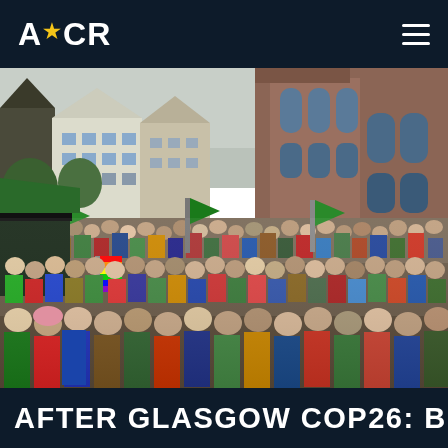ACR
[Figure (photo): Large crowd gathered in a European city square for a climate protest. Behind the crowd are historic multi-story buildings on the left and a large Gothic-style red-brick church on the right. Green flags and banners are visible among the crowd. A stage with a green canopy is visible on the left edge.]
AFTER GLASGOW COP26: BUILD